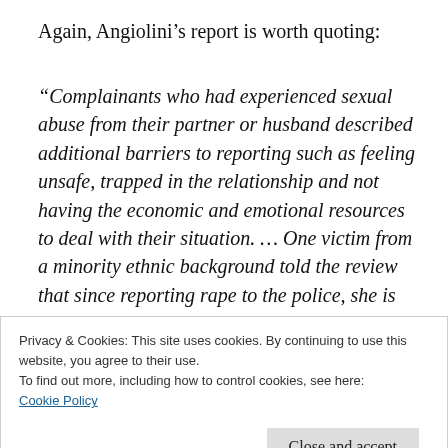Again, Angiolini's report is worth quoting:
“Complainants who had experienced sexual abuse from their partner or husband described additional barriers to reporting such as feeling unsafe, trapped in the relationship and not having the economic and emotional resources to deal with their situation. … One victim from a minority ethnic background told the review that since reporting rape to the police, she is
Privacy & Cookies: This site uses cookies. By continuing to use this website, you agree to their use.
To find out more, including how to control cookies, see here:
Cookie Policy
Close and accept
the perpetrator and kept silent. The review